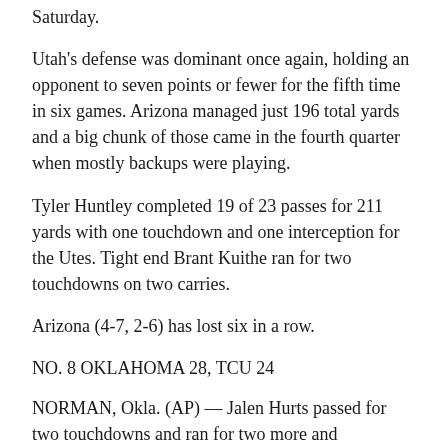Saturday.
Utah's defense was dominant once again, holding an opponent to seven points or fewer for the fifth time in six games. Arizona managed just 196 total yards and a big chunk of those came in the fourth quarter when mostly backups were playing.
Tyler Huntley completed 19 of 23 passes for 211 yards with one touchdown and one interception for the Utes. Tight end Brant Kuithe ran for two touchdowns on two carries.
Arizona (4-7, 2-6) has lost six in a row.
NO. 8 OKLAHOMA 28, TCU 24
NORMAN, Okla. (AP) — Jalen Hurts passed for two touchdowns and ran for two more and Oklahoma beat TCU to clinch a spot in the Big 12 championship game.